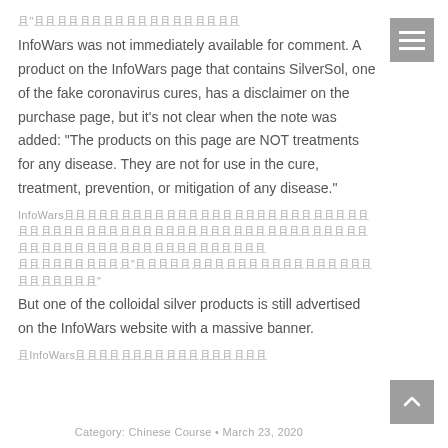且"且且且且且且且且且且且且且且且且且且
InfoWars was not immediately available for comment. A product on the InfoWars page that contains SilverSol, one of the fake coronavirus cures, has a disclaimer on the purchase page, but it’s not clear when the note was added: “The products on this page are NOT treatments for any disease. They are not for use in the cure, treatment, prevention, or mitigation of any disease.”
InfoWars且且且且且且且且且且且且且且且且且且且且且且且且且且且且且且且且且且且且且且且且且且且且且且且且且且且且且且且且且且且且且且且且且且且且且且且且且且且且且且且且且且且且且且且且且且且且且且且且且且且且且且且且且且且且且且且且且且且且且且且且且且且且且且且且且且且且且且且且且且且且且且且且且且且且且且且且且且且且且且且且且且且且且且且且且且且且且且且且“且且且且且且且且且且且且且且且且且且且且且且且且且且且”
But one of the colloidal silver products is still advertised on the InfoWars website with a massive banner.
且InfoWars且且且且且且且且且且且且且且且且且
Category: Chinese Course • March 23, 2020